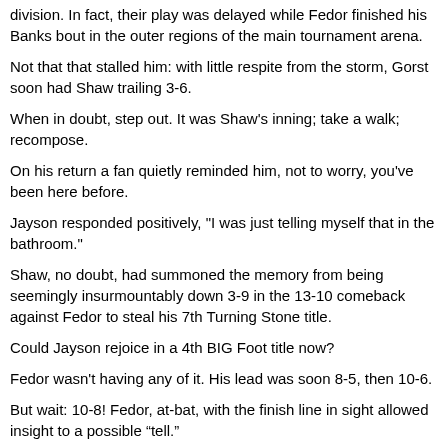division. In fact, their play was delayed while Fedor finished his Banks bout in the outer regions of the main tournament arena.
Not that that stalled him: with little respite from the storm, Gorst soon had Shaw trailing 3-6.
When in doubt, step out. It was Shaw's inning; take a walk; recompose.
On his return a fan quietly reminded him, not to worry, you've been here before.
Jayson responded positively, "I was just telling myself that in the bathroom."
Shaw, no doubt, had summoned the memory from being seemingly insurmountably down 3-9 in the 13-10 comeback against Fedor to steal his 7th Turning Stone title.
Could Jayson rejoice in a 4th BIG Foot title now?
Fedor wasn't having any of it. His lead was soon 8-5, then 10-6.
But wait: 10-8!  Fedor, at-bat, with the finish line in sight allowed insight to a possible “tell.”
When the pressure mounts, which is rare, he clears his throat.
Tell or not. Fedor was not to be deprived of the opportunity of